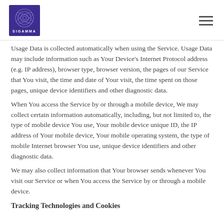SIGAMMA [logo with hamburger menu]
Usage Data is collected automatically when using the Service. Usage Data may include information such as Your Device's Internet Protocol address (e.g. IP address), browser type, browser version, the pages of our Service that You visit, the time and date of Your visit, the time spent on those pages, unique device identifiers and other diagnostic data.
When You access the Service by or through a mobile device, We may collect certain information automatically, including, but not limited to, the type of mobile device You use, Your mobile device unique ID, the IP address of Your mobile device, Your mobile operating system, the type of mobile Internet browser You use, unique device identifiers and other diagnostic data.
We may also collect information that Your browser sends whenever You visit our Service or when You access the Service by or through a mobile device.
Tracking Technologies and Cookies